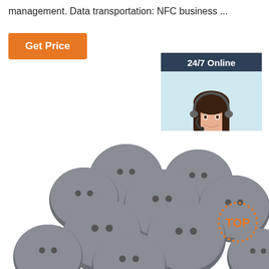management. Data transportation: NFC business ...
[Figure (other): Orange 'Get Price' button]
[Figure (other): 24/7 Online chat widget with customer service representative photo, 'Click here for free chat!' text and orange QUOTATION button]
[Figure (photo): Multiple grey circular NFC coin laundry tags with two holes, piled together on white background]
[Figure (logo): Orange TOP badge/watermark in bottom right corner]